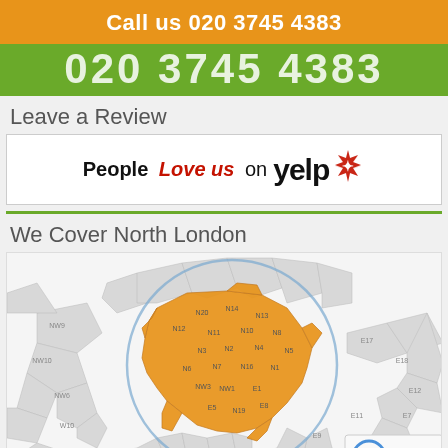Call us 020 3745 4383
020 3745 4383
Leave a Review
[Figure (logo): People Love us on Yelp badge with Yelp logo and red burst icon]
We Cover North London
[Figure (map): Map of North London postal districts with orange highlighted area showing coverage zone, magnified with a circular zoom lens]